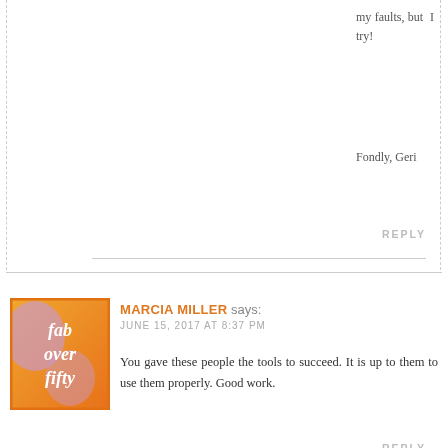my faults, but I try!
Fondly, Geri
REPLY
MARCIA MILLER says: JUNE 15, 2017 AT 8:37 PM
[Figure (logo): Fab Over Fifty logo: orange/yellow gradient square with purple splash and white italic text 'fab over fifty']
You gave these people the tools to succeed. It is up to them to use them properly. Good work.
REPLY
[Figure (logo): Fab Over Fifty logo: orange/yellow gradient square with purple splash and white italic text 'fab over fifty']
GERI BRIN says: JUNE 15, 2017 AT